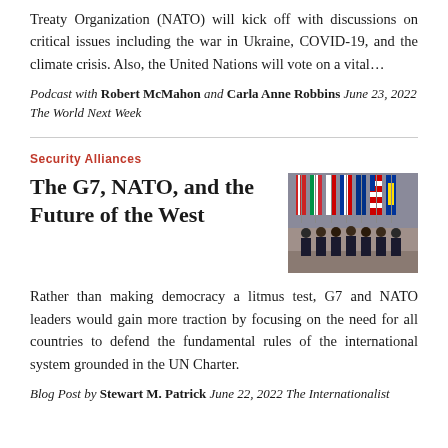Treaty Organization (NATO) will kick off with discussions on critical issues including the war in Ukraine, COVID-19, and the climate crisis. Also, the United Nations will vote on a vital…
Podcast with Robert McMahon and Carla Anne Robbins June 23, 2022 The World Next Week
Security Alliances
The G7, NATO, and the Future of the West
[Figure (photo): Group photo of world leaders in formal attire standing in front of multiple national flags]
Rather than making democracy a litmus test, G7 and NATO leaders would gain more traction by focusing on the need for all countries to defend the fundamental rules of the international system grounded in the UN Charter.
Blog Post by Stewart M. Patrick June 22, 2022 The Internationalist